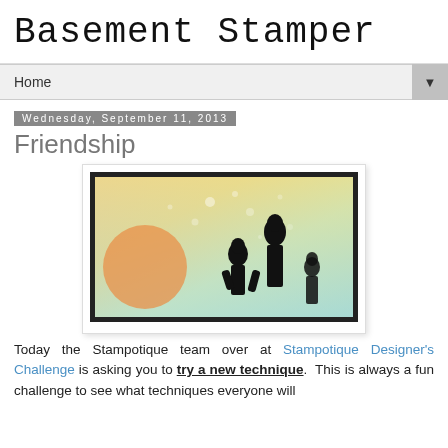Basement Stamper
Home
Wednesday, September 11, 2013
Friendship
[Figure (photo): A stamped card showing two children silhouettes on a colorful watercolor background with a large orange circle on the left, framed in a white card with dark border]
Today the Stampotique team over at Stampotique Designer's Challenge is asking you to try a new technique.  This is always a fun challenge to see what techniques everyone will